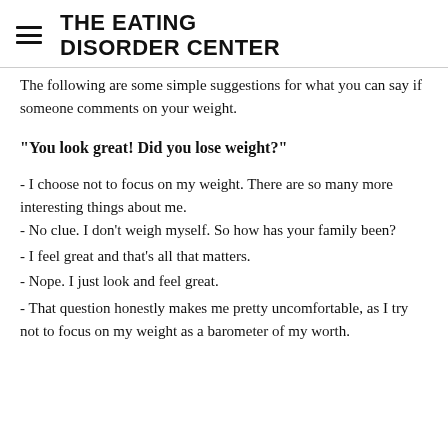THE EATING DISORDER CENTER
The following are some simple suggestions for what you can say if someone comments on your weight.
“You look great! Did you lose weight?”
- I choose not to focus on my weight. There are so many more interesting things about me.
- No clue. I don’t weigh myself. So how has your family been?
- I feel great and that’s all that matters.
- Nope. I just look and feel great.
- That question honestly makes me pretty uncomfortable, as I try not to focus on my weight as a barometer of my worth.